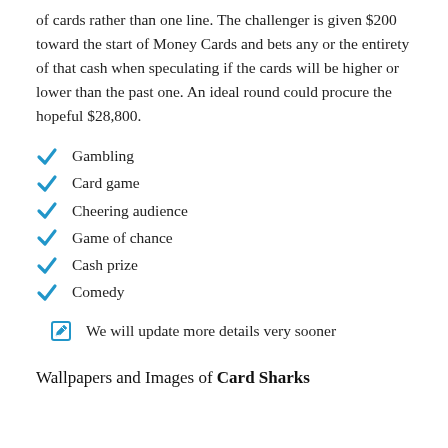of cards rather than one line. The challenger is given $200 toward the start of Money Cards and bets any or the entirety of that cash when speculating if the cards will be higher or lower than the past one. An ideal round could procure the hopeful $28,800.
Gambling
Card game
Cheering audience
Game of chance
Cash prize
Comedy
We will update more details very sooner
Wallpapers and Images of Card Sharks